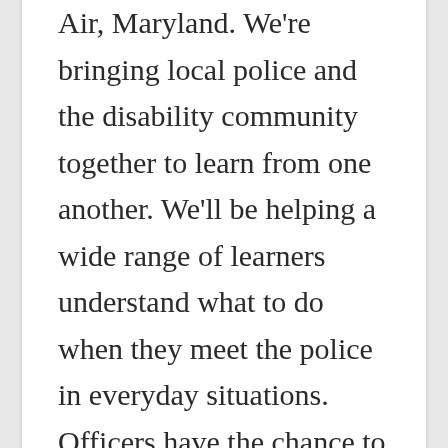Air, Maryland. We're bringing local police and the disability community together to learn from one another. We'll be helping a wide range of learners understand what to do when they meet the police in everyday situations. Officers have the chance to meet members of the community